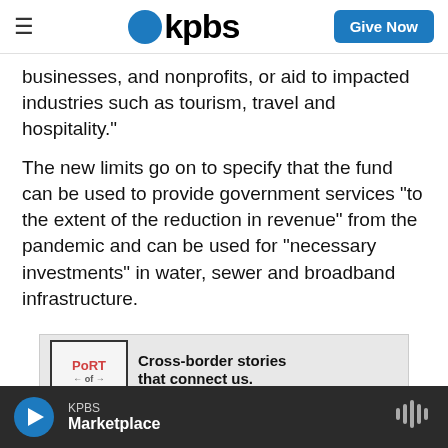kpbs | Give Now
businesses, and nonprofits, or aid to impacted industries such as tourism, travel and hospitality."
The new limits go on to specify that the fund can be used to provide government services "to the extent of the reduction in revenue" from the pandemic and can be used for "necessary investments" in water, sewer and broadband infrastructure.
[Figure (other): Advertisement banner for Port of Entry podcast. Logo shows text 'Port of Entry' with arrows. Text reads: Cross-border stories that connect us. New episodes out now.]
Read the full bill below:
KPBS Marketplace